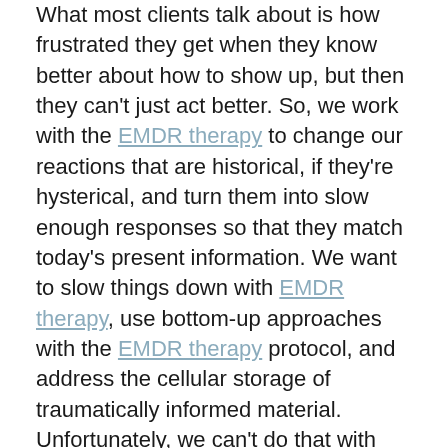What most clients talk about is how frustrated they get when they know better about how to show up, but then they can't just act better. So, we work with the EMDR therapy to change our reactions that are historical, if they're hysterical, and turn them into slow enough responses so that they match today's present information. We want to slow things down with EMDR therapy, use bottom-up approaches with the EMDR therapy protocol, and address the cellular storage of traumatically informed material. Unfortunately, we can't do that with talk therapy. So, if we want to change forever adaptations that are no longer helpful, we have to use bottom-up therapies in order to address those issues.